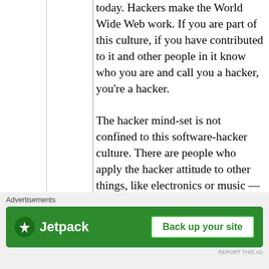today. Hackers make the World Wide Web work. If you are part of this culture, if you have contributed to it and other people in it know who you are and call you a hacker, you're a hacker.
The hacker mind-set is not confined to this software-hacker culture. There are people who apply the hacker attitude to other things, like electronics or music — actually, you can find it at the highest levels of any science or art. Software hackers recognize these kindred spirits elsewhere and may call them 'hackers' too — and some claim
[Figure (other): Jetpack advertisement banner with logo on green background and 'Back up your site' button]